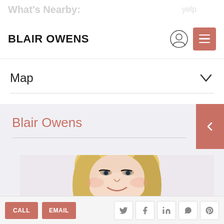What's Nearby:
BLAIR OWENS
Map
Blair Owens
[Figure (photo): Professional headshot of Blair Owens, a blonde woman smiling, photographed against a light background]
CALL   EMAIL   [Twitter] [Facebook] [LinkedIn] [WhatsApp] [Pinterest]